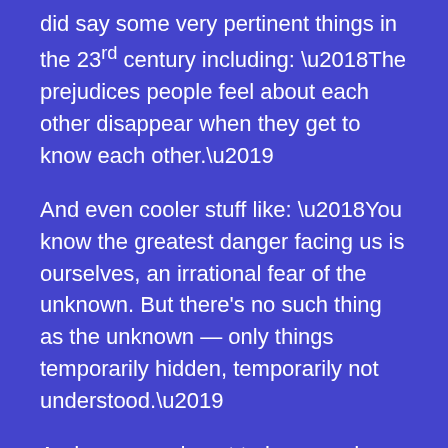did say some very pertinent things in the 23rd century including: ‘The prejudices people feel about each other disappear when they get to know each other.’
And even cooler stuff like: ‘You know the greatest danger facing us is ourselves, an irrational fear of the unknown. But there’s no such thing as the unknown — only things temporarily hidden, temporarily not understood.’
And once we do get to know and start to understand each other, we find that whilst we may